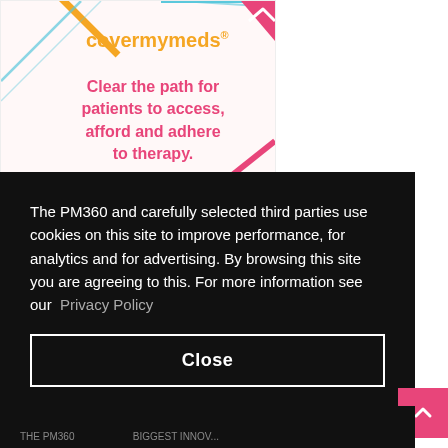[Figure (illustration): CoverMyMeds advertisement banner with logo in orange/pink and tagline 'Clear the path for patients to access, afford and adhere to therapy.' on light background with diagonal stripe decorations and chevron corner element.]
The PM360 and carefully selected third parties use cookies on this site to improve performance, for analytics and for advertising. By browsing this site you are agreeing to this. For more information see our Privacy Policy
Close